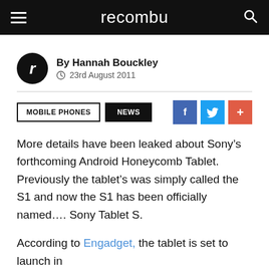recombu
By Hannah Bouckley
23rd August 2011
MOBILE PHONES  NEWS
More details have been leaked about Sony’s forthcoming Android Honeycomb Tablet. Previously the tablet’s was simply called the S1 and now the S1 has been officially named…. Sony Tablet S.
According to Engadget, the tablet is set to launch in